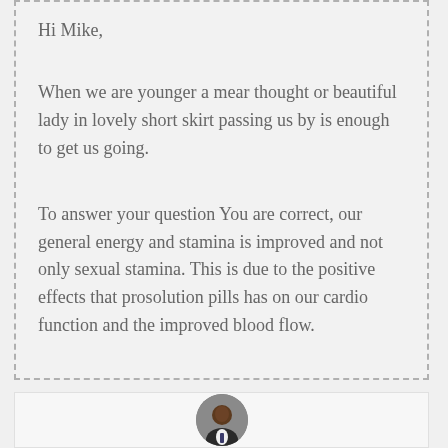Hi Mike,
When we are younger a mear thought or beautiful lady in lovely short skirt passing us by is enough to get us going.
To answer your question You are correct, our general energy and stamina is improved and not only sexual stamina. This is due to the positive effects that prosolution pills has on our cardio function and the improved blood flow.
[Figure (photo): Circular avatar photo of a person in a suit, positioned at the bottom of the page inside a light-bordered box.]